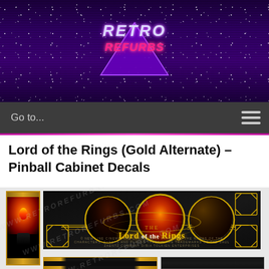RETRO REFURBS
Go to...
Lord of the Rings (Gold Alternate) – Pinball Cabinet Decals
[Figure (photo): Lord of the Rings Gold Alternate Pinball Cabinet Decals product image showing side panel with Eye of Sauron and main backglass decal with The Lord of the Rings logo featuring three circular character medallions on a dark ornate background with gold borders, plus smaller strip decals below. Watermark WWW.RETROREFURBS.COM visible across image.]